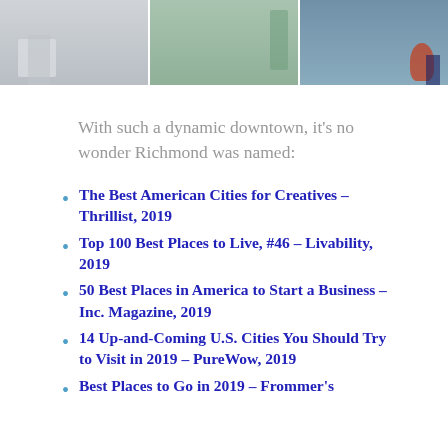[Figure (photo): Three photos showing people in an urban downtown setting, arranged side by side in a strip at the top of the page.]
With such a dynamic downtown, it's no wonder Richmond was named:
The Best American Cities for Creatives – Thrillist, 2019
Top 100 Best Places to Live, #46 – Livability, 2019
50 Best Places in America to Start a Business – Inc. Magazine, 2019
14 Up-and-Coming U.S. Cities You Should Try to Visit in 2019 – PureWow, 2019
Best Places to Go in 2019 – Frommer's